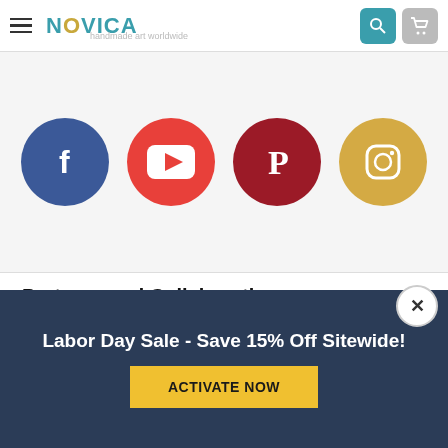NOVICA — handmade art worldwide
[Figure (illustration): Four social media icon circles: Facebook (blue), YouTube (red), Pinterest (dark red), Instagram (gold)]
Partners and Collaborations
[Figure (logo): Smithsonian logo badge on gray background]
Labor Day Sale - Save 15% Off Sitewide!
ACTIVATE NOW